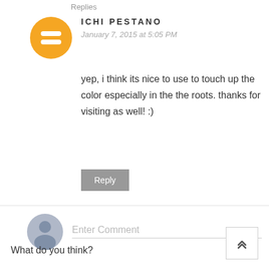Replies
[Figure (illustration): Orange circular Blogger avatar icon with white B logo]
ICHI PESTANO
January 7, 2015 at 5:05 PM
yep, i think its nice to use to touch up the color especially in the the roots. thanks for visiting as well! :)
Reply
[Figure (illustration): Generic grey user avatar silhouette icon]
Enter Comment
What do you think?